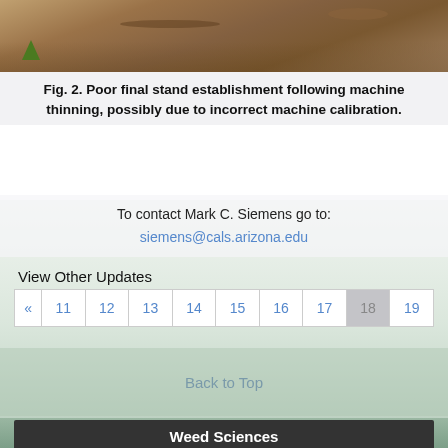[Figure (photo): Close-up photograph of soil with sparse green seedlings, showing poor plant establishment after machine thinning.]
Fig. 2. Poor final stand establishment following machine thinning, possibly due to incorrect machine calibration.
To contact Mark C. Siemens go to:
siemens@cals.arizona.edu
View Other Updates
« 11 12 13 14 15 16 17 18 19
Back to Top
Weed Sciences
Apr 7, 2021